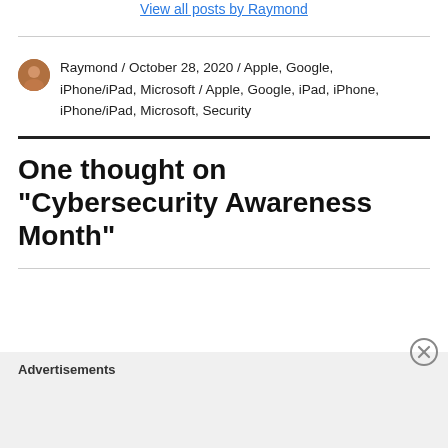View all posts by Raymond
Raymond / October 28, 2020 / Apple, Google, iPhone/iPad, Microsoft / Apple, Google, iPad, iPhone, iPhone/iPad, Microsoft, Security
One thought on “Cybersecurity Awareness Month”
Advertisements